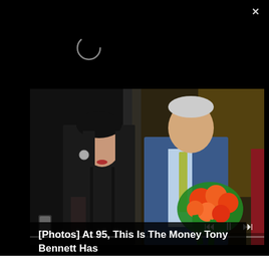[Figure (photo): Screenshot of a webpage/app showing a photo of two people — a young woman in a black dress and an older man in a blue blazer holding orange flowers — with a video player overlay including progress bar and playback controls. Black top bar with close X button and loading spinner visible.]
[Photos] At 95, This Is The Money Tony Bennett Has